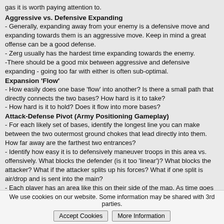gas it is worth paying attention to.
Aggressive vs. Defensive Expanding
- Generally, expanding away from your enemy is a defensive move and expanding towards them is an aggressive move. Keep in mind a great offense can be a good defense.
- Zerg usually has the hardest time expanding towards the enemy.
-There should be a good mix between aggressive and defensive expanding - going too far with either is often sub-optimal.
Expansion 'Flow'
- How easily does one base 'flow' into another? Is there a small path that directly connects the two bases? How hard is it to take?
- How hard is it to hold? Does it flow into more bases?
Attack-Defense Pivot (Army Positioning Gameplay)
- For each likely set of bases, identify the longest line you can make between the two outermost ground chokes that lead directly into them. How far away are the farthest two entrances?
- Identify how easy it is to defensively maneuver troops in this area vs. offensively. What blocks the defender (is it too 'linear')? What blocks the attacker? What if the attacker splits up his forces? What if one split is air/drop and is sent into the main?
- Each player has an area like this on their side of the map. As time goes on, the distance between these two areas becomes more important than the initial rush distance.
We use cookies on our website. Some information may be shared with 3rd parties.
Accept Cookies
More Information